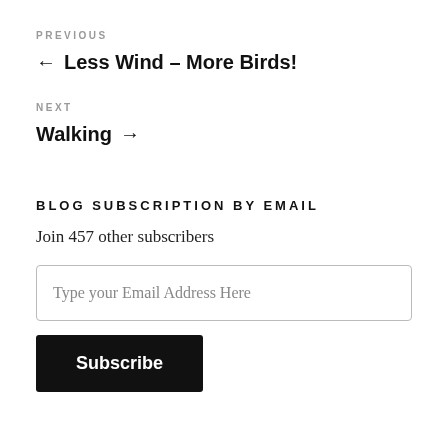PREVIOUS
← Less Wind – More Birds!
NEXT
Walking →
BLOG SUBSCRIPTION BY EMAIL
Join 457 other subscribers
Type your Email Address Here
Subscribe